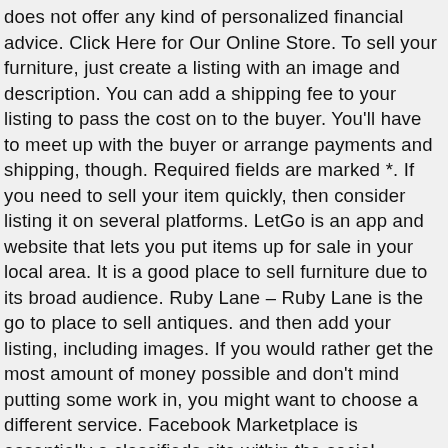does not offer any kind of personalized financial advice. Click Here for Our Online Store. To sell your furniture, just create a listing with an image and description. You can add a shipping fee to your listing to pass the cost on to the buyer. You'll have to meet up with the buyer or arrange payments and shipping, though. Required fields are marked *. If you need to sell your item quickly, then consider listing it on several platforms. LetGo is an app and website that lets you put items up for sale in your local area. It is a good place to sell furniture due to its broad audience. Ruby Lane – Ruby Lane is the go to place to sell antiques. and then add your listing, including images. If you would rather get the most amount of money possible and don't mind putting some work in, you might want to choose a different service. Facebook Marketplace is essentially a classifieds site within the social network. All Rights Reserved. When you click on some of the links on our site and complete a required action (i.e. Sotheby's takes care of the entire selling process, including arranging shipment and communicating with the buyer. Roy Barker.